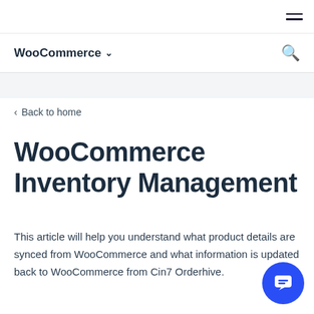WooCommerce ▾ (navigation bar with search)
‹ Back to home
WooCommerce Inventory Management
This article will help you understand what product details are synced from WooCommerce and what information is updated back to WooCommerce from Cin7 Orderhive.
Once integrated, Cin7 Orderhive will sync all your